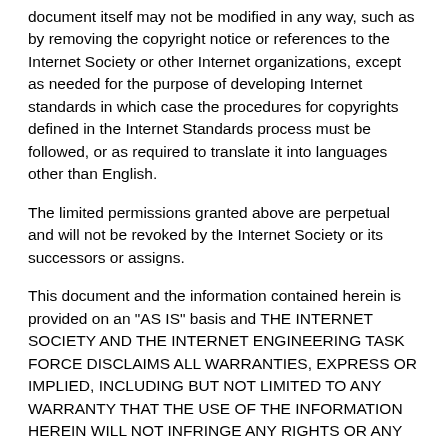document itself may not be modified in any way, such as by removing the copyright notice or references to the Internet Society or other Internet organizations, except as needed for the purpose of developing Internet standards in which case the procedures for copyrights defined in the Internet Standards process must be followed, or as required to translate it into languages other than English.
The limited permissions granted above are perpetual and will not be revoked by the Internet Society or its successors or assigns.
This document and the information contained herein is provided on an "AS IS" basis and THE INTERNET SOCIETY AND THE INTERNET ENGINEERING TASK FORCE DISCLAIMS ALL WARRANTIES, EXPRESS OR IMPLIED, INCLUDING BUT NOT LIMITED TO ANY WARRANTY THAT THE USE OF THE INFORMATION HEREIN WILL NOT INFRINGE ANY RIGHTS OR ANY IMPLIED WARRANTIES OF MERCHANTABILITY OR FITNESS FOR A PARTICULAR PURPOSE.